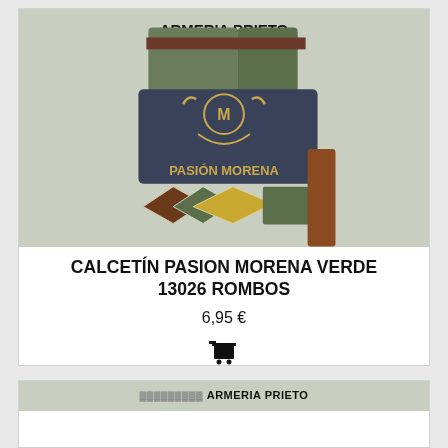[Figure (photo): Photo of Pasion Morena argyle socks in green, brown and yellow colors with a navy label showing the brand logo and text PASION MORENA. Header text reads ARMERIA PRIETO.]
CALCETIN PASION MORENA VERDE 13026 ROMBOS
6,95 €
[Figure (photo): Partially visible second product card showing ARMERIA PRIETO header text and a partial sock product image.]